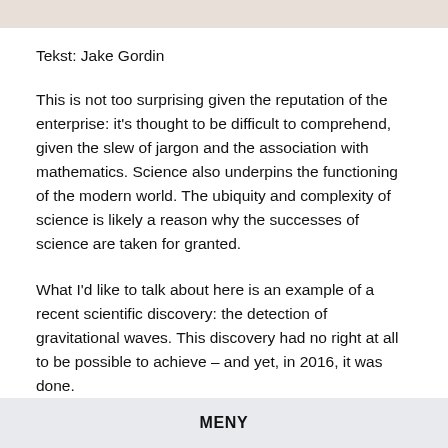[Figure (photo): Partial photo strip visible at the top of the page]
Tekst: Jake Gordin
This is not too surprising given the reputation of the enterprise: it's thought to be difficult to comprehend, given the slew of jargon and the association with mathematics. Science also underpins the functioning of the modern world. The ubiquity and complexity of science is likely a reason why the successes of science are taken for granted.
What I'd like to talk about here is an example of a recent scientific discovery: the detection of gravitational waves. This discovery had no right at all to be possible to achieve – and yet, in 2016, it was done.
MENY